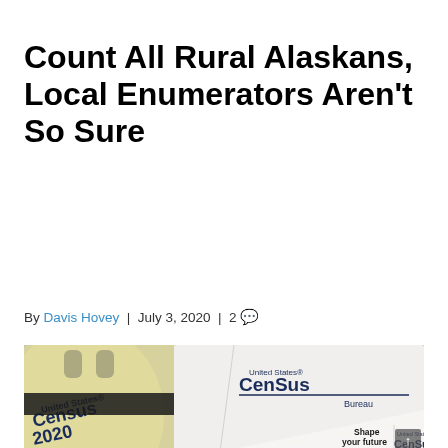Count All Rural Alaskans, Local Enumerators Aren't So Sure
By Davis Hovey | July 3, 2020 | 2 💬
[Figure (photo): Census 2020 bags and materials with United States Census Bureau branding, including text 'Shape your future START HERE' and 'United States Census' logos]